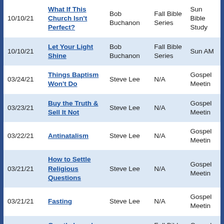| Date | Title | Speaker | Series | Type |
| --- | --- | --- | --- | --- |
| 10/10/21 | What If This Church Isn't Perfect? | Bob Buchanon | Fall Bible Series | Sun Bible Study |
| 10/10/21 | Let Your Light Shine | Bob Buchanon | Fall Bible Series | Sun AM |
| 03/24/21 | Things Baptism Won't Do | Steve Lee | N/A | Gospel Meetin |
| 03/23/21 | Buy the Truth & Sell It Not | Steve Lee | N/A | Gospel Meetin |
| 03/22/21 | Antinatalism | Steve Lee | N/A | Gospel Meetin |
| 03/21/21 | How to Settle Religious Questions | Steve Lee | N/A | Gospel Meetin |
| 03/21/21 | Fasting | Steve Lee | N/A | Gospel Meetin |
| 09/30/20 | Greatly Loved (Dan. 10:19) | Gary Kerr | Fall Bible Series | Gospel Meetin |